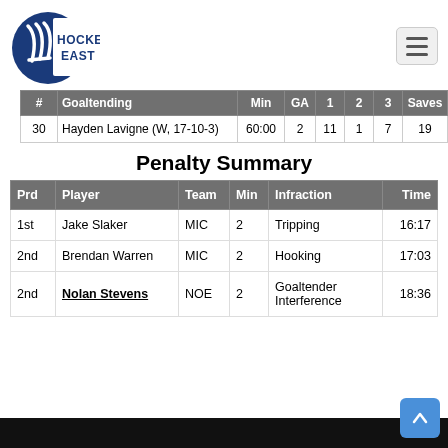[Figure (logo): Hockey East logo — circular blue emblem with hockey stick lines and text HOCKEY EAST]
| # | Goaltending | Min | GA | 1 | 2 | 3 | Saves |
| --- | --- | --- | --- | --- | --- | --- | --- |
| 30 | Hayden Lavigne (W, 17-10-3) | 60:00 | 2 | 11 | 1 | 7 | 19 |
Penalty Summary
| Prd | Player | Team | Min | Infraction | Time |
| --- | --- | --- | --- | --- | --- |
| 1st | Jake Slaker | MIC | 2 | Tripping | 16:17 |
| 2nd | Brendan Warren | MIC | 2 | Hooking | 17:03 |
| 2nd | Nolan Stevens | NOE | 2 | Goaltender Interference | 18:36 |